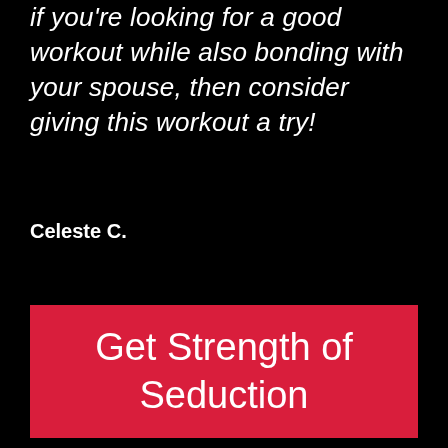if you're looking for a good workout while also bonding with your spouse, then consider giving this workout a try!
Celeste C.
Get Strength of Seduction